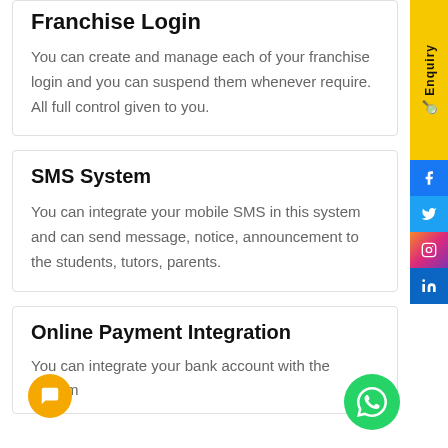Franchise Login
You can create and manage each of your franchise login and you can suspend them whenever require. All full control given to you.
SMS System
You can integrate your mobile SMS in this system and can send message, notice, announcement to the students, tutors, parents.
Online Payment Integration
You can integrate your bank account with the system which linked to the bank account will automatically...